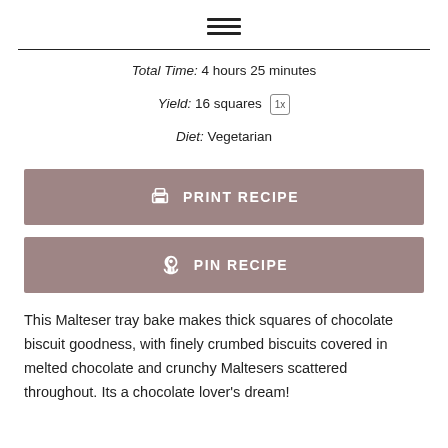≡
Total Time: 4 hours 25 minutes
Yield: 16 squares 1x
Diet: Vegetarian
[Figure (other): PRINT RECIPE button (mauve/dusty rose colored button with printer icon)]
[Figure (other): PIN RECIPE button (mauve/dusty rose colored button with Pinterest icon)]
This Malteser tray bake makes thick squares of chocolate biscuit goodness, with finely crumbed biscuits covered in melted chocolate and crunchy Maltesers scattered throughout. Its a chocolate lover's dream!